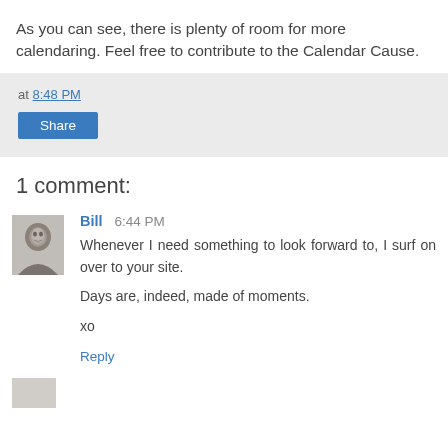As you can see, there is plenty of room for more calendaring. Feel free to contribute to the Calendar Cause.
at 8:48 PM
Share
1 comment:
[Figure (photo): Avatar photo of commenter Bill - grayscale headshot of a person]
Bill 6:44 PM
Whenever I need something to look forward to, I surf on over to your site.

Days are, indeed, made of moments.

xo
Reply